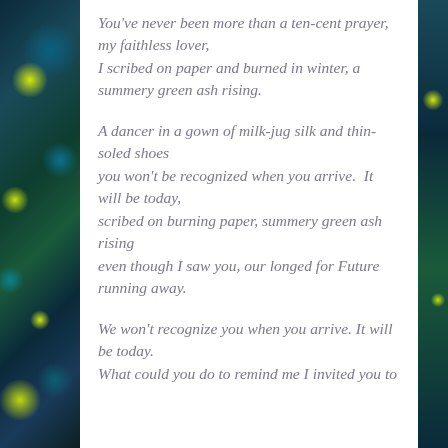[Figure (illustration): Decorative fractal/floral pattern border on the left side and narrow right side of the page, with teal, dark blue, and yellow-green colors]
You've never been more than a ten-cent prayer, my faithless lover,
I scribed on paper and burned in winter, a summery green ash rising.

A dancer in a gown of milk-jug silk and thin-soled shoes
you won't be recognized when you arrive.  It will be today,
scribed on burning paper, summery green ash rising
even though I saw you, our longed for Future running away.

We won't recognize you when you arrive. It will be today.
What could you do to remind me I invited you to